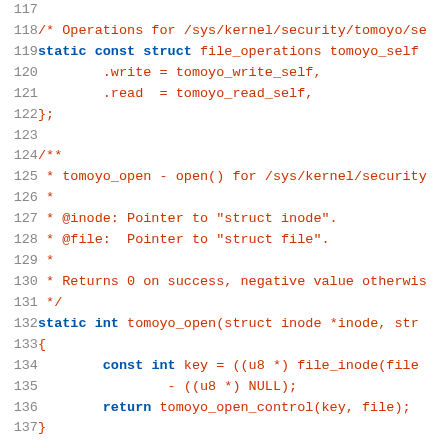[Figure (screenshot): Source code listing (C language) showing lines 117-137 of a Linux kernel TOMOYO security module file. Lines include file_operations struct definition, a kernel-doc comment block for tomoyo_open function, and the function body.]